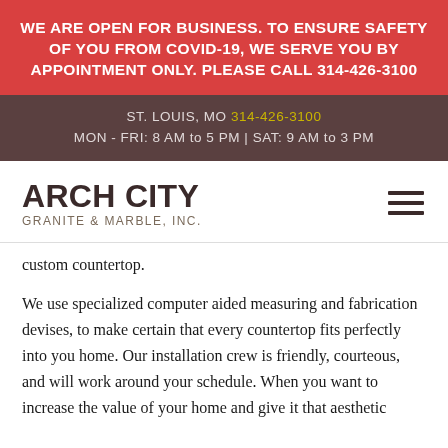WE ARE OPEN FOR BUSINESS. TO ENSURE SAFETY OF YOU FROM COVID-19, WE SERVE YOU BY APPOINTMENT ONLY. PLEASE CALL 314-426-3100
ST. LOUIS, MO 314-426-3100 MON - FRI: 8 AM to 5 PM | SAT: 9 AM to 3 PM
ARCH CITY GRANITE & MARBLE, INC.
custom countertop.
We use specialized computer aided measuring and fabrication devises, to make certain that every countertop fits perfectly into you home. Our installation crew is friendly, courteous, and will work around your schedule. When you want to increase the value of your home and give it that aesthetic